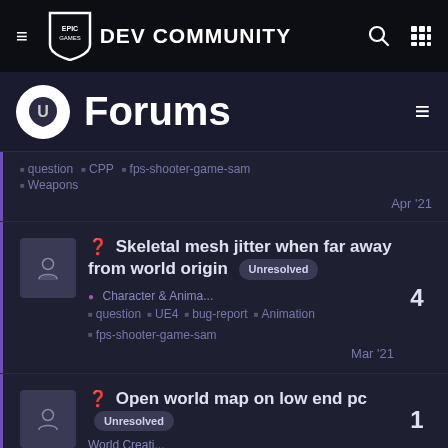Epic Games DEV COMMUNITY
Forums
question ■ CPP ■ fps-shooter-game-sam ■ Weapons — Apr '21
? Skeletal mesh jitter when far away from world origin — Unresolved — Character & Anima... — question ■ UE4 ■ bug-report ■ Animation ■ fps-shooter-game-sam — Mar '21 — replies: 4
? Open world map on low end pc — Unresolved — World Creati... — replies: 1